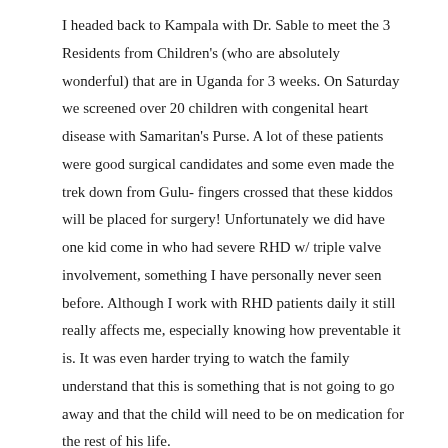I headed back to Kampala with Dr. Sable to meet the 3 Residents from Children's (who are absolutely wonderful) that are in Uganda for 3 weeks. On Saturday we screened over 20 children with congenital heart disease with Samaritan's Purse. A lot of these patients were good surgical candidates and some even made the trek down from Gulu- fingers crossed that these kiddos will be placed for surgery! Unfortunately we did have one kid come in who had severe RHD w/ triple valve involvement, something I have personally never seen before. Although I work with RHD patients daily it still really affects me, especially knowing how preventable it is. It was even harder trying to watch the family understand that this is something that is not going to go away and that the child will need to be on medication for the rest of his life.
After an amazingly long and productive week, the Residents, Twalib and I headed back to Gulu on Sunday afternoon. I honestly can't